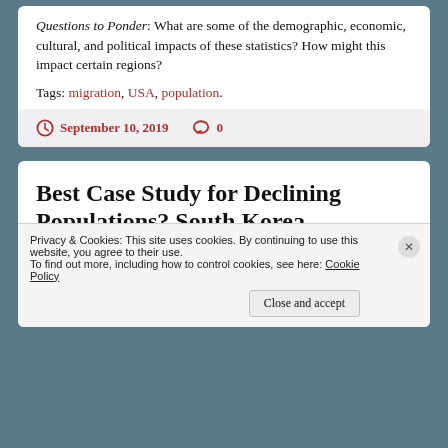Questions to Ponder: What are some of the demographic, economic, cultural, and political impacts of these statistics?  How might this impact certain regions?
Tags: migration, USA, population.
September 10, 2019   0
Best Case Study for Declining Populations? South Korea
Privacy & Cookies: This site uses cookies. By continuing to use this website, you agree to their use.
To find out more, including how to control cookies, see here: Cookie Policy
Close and accept